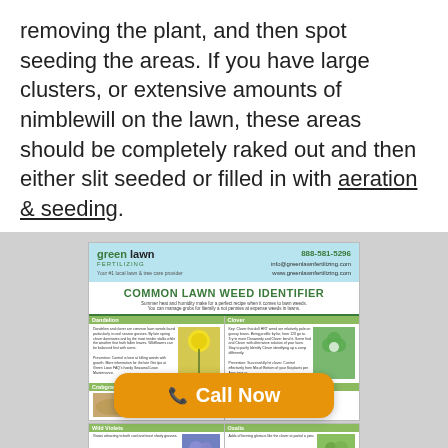removing the plant, and then spot seeding the areas. If you have large clusters, or extensive amounts of nimblewill on the lawn, these areas should be completely raked out and then either slit seeded or filled in with aeration & seeding.
[Figure (infographic): Green Lawn Fertilizing Common Lawn Weed Identifier flyer showing dandelion, clover, crabgrass, ground ivy, wild violets, and oxalis sections with photos and text, partially overlaid by an orange Call Now button]